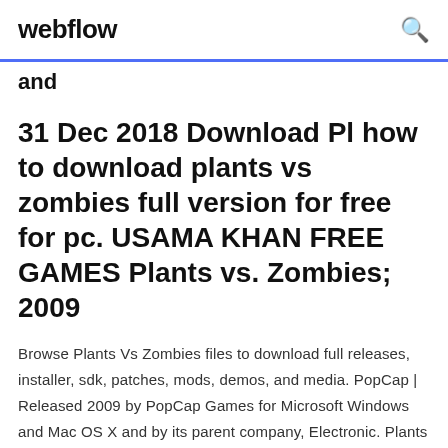webflow
and
31 Dec 2018 Download Pl how to download plants vs zombies full version for free for pc. USAMA KHAN FREE GAMES Plants vs. Zombies; 2009
Browse Plants Vs Zombies files to download full releases, installer, sdk, patches, mods, demos, and media. PopCap | Released 2009 by PopCap Games for Microsoft Windows and Mac OS X and by its parent company, Electronic. Plants vs. Zombies Télécharger - Plants vs. Zombies